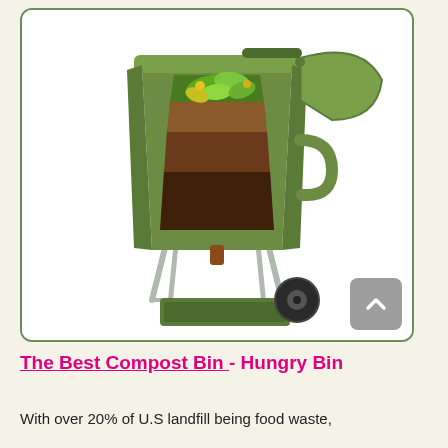[Figure (photo): A green compost bin called the Hungry Bin on a wheeled metal frame, shown with a cut-away view revealing layers of composting material — green organic waste and leaves at the top, brown/dark compost soil at the bottom. The bin lid is open to the right. A collection tray sits at the bottom. White background inside the image.]
The Best Compost Bin - Hungry Bin
With over 20% of U.S landfill being food waste,